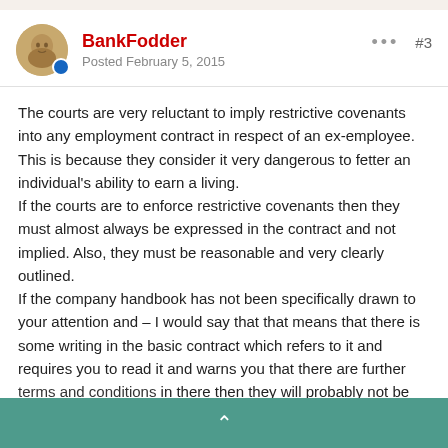BankFodder · Posted February 5, 2015 · #3
The courts are very reluctant to imply restrictive covenants into any employment contract in respect of an ex-employee. This is because they consider it very dangerous to fetter an individual's ability to earn a living.
If the courts are to enforce restrictive covenants then they must almost always be expressed in the contract and not implied. Also, they must be reasonable and very clearly outlined.
If the company handbook has not been specifically drawn to your attention and – I would say that that means that there is some writing in the basic contract which refers to it and requires you to read it and warns you that there are further terms and conditions in there then they will probably not be able to say that such a term exists. Additionally, if you can convince a court that you were never even told about the company handbook or its contents then it will be impossible for your employers to